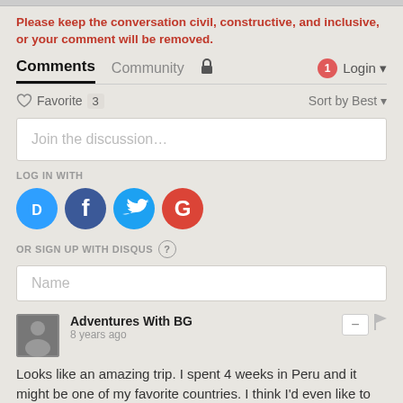Please keep the conversation civil, constructive, and inclusive, or your comment will be removed.
Comments  Community  Login
Favorite 3   Sort by Best
Join the discussion...
LOG IN WITH
[Figure (illustration): Social login icons: Disqus (D), Facebook (F), Twitter bird, Google (G)]
OR SIGN UP WITH DISQUS ?
Name
Adventures With BG
8 years ago
Looks like an amazing trip. I spent 4 weeks in Peru and it might be one of my favorite countries. I think I'd even like to